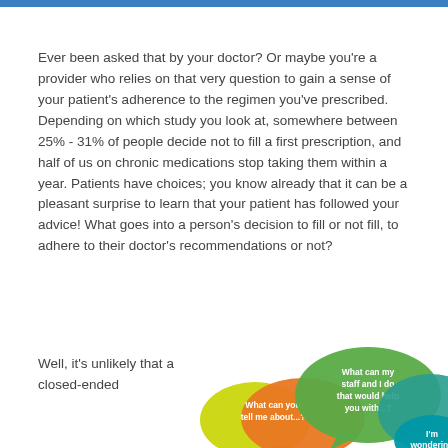Ever been asked that by your doctor? Or maybe you're a provider who relies on that very question to gain a sense of your patient's adherence to the regimen you've prescribed. Depending on which study you look at, somewhere between 25% - 31% of people decide not to fill a first prescription, and half of us on chronic medications stop taking them within a year. Patients have choices; you know already that it can be a pleasant surprise to learn that your patient has followed your advice! What goes into a person's decision to fill or not fill, to adhere to their doctor's recommendations or not?
Well, it's unlikely that a closed-ended
[Figure (illustration): Speech bubbles in various colors (green, orange, teal) with text: 'What can my staff and I do that would help you with...?', 'What can you tell me about...?', 'I'm wondering']